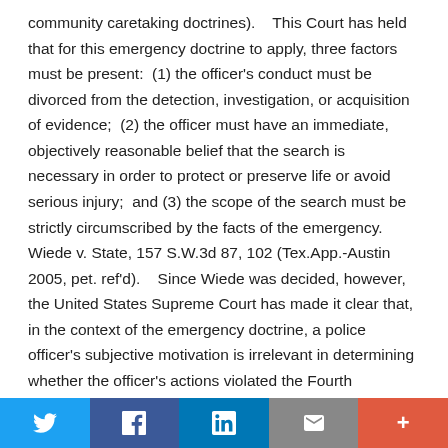community caretaking doctrines). This Court has held that for this emergency doctrine to apply, three factors must be present: (1) the officer's conduct must be divorced from the detection, investigation, or acquisition of evidence; (2) the officer must have an immediate, objectively reasonable belief that the search is necessary in order to protect or preserve life or avoid serious injury; and (3) the scope of the search must be strictly circumscribed by the facts of the emergency. Wiede v. State, 157 S.W.3d 87, 102 (Tex.App.-Austin 2005, pet. ref'd). Since Wiede was decided, however, the United States Supreme Court has made it clear that, in the context of the emergency doctrine, a police officer's subjective motivation is irrelevant in determining whether the officer's actions violated the Fourth Amendment. Brigham City v. Stuart, 547 U.S. 398, 126 S.Ct. 1943, 1948, 164 L.Ed.2d 650 (2006). The Court rejected the argument that
Twitter | Facebook | LinkedIn | Email | More